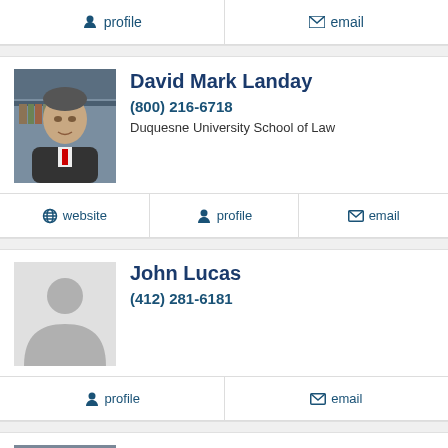profile  email
[Figure (photo): Photo of David Mark Landay]
David Mark Landay
(800) 216-6718
Duquesne University School of Law
website  profile  email
[Figure (photo): Placeholder silhouette photo for John Lucas]
John Lucas
(412) 281-6181
profile  email
[Figure (photo): Photo of Mark A. Smith]
Mark A. Smith